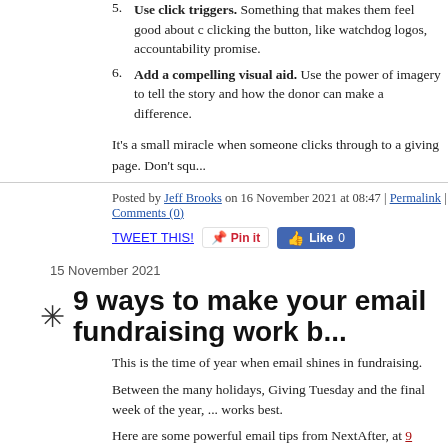5. Use click triggers. Something that makes them feel good about clicking the button, like watchdog logos, accountability promise.
6. Add a compelling visual aid. Use the power of imagery to tell the story and how the donor can make a difference.
It's a small miracle when someone clicks through to a giving page. Don't squ...
Posted by Jeff Brooks on 16 November 2021 at 08:47 | Permalink | Comments (0)
TWEET THIS! [Pin it] [Like 0]
15 November 2021
9 ways to make your email fundraising work b...
This is the time of year when email shines in fundraising.
Between the many holidays, Giving Tuesday and the final week of the year, ... works best.
Here are some powerful email tips from NextAfter, at 9 Proven Steps to Write... Fundraising Email Appeal:
1. Send your year-end fundraising email from a believable huma... visible in the inbox should be a person, not your organization.
2. Add value and mystery to your subject line. It should communic... is of value to the recipient, and it should do so in a way that sparks...
3. Don't customize your preview text. Let the preview text just sho...